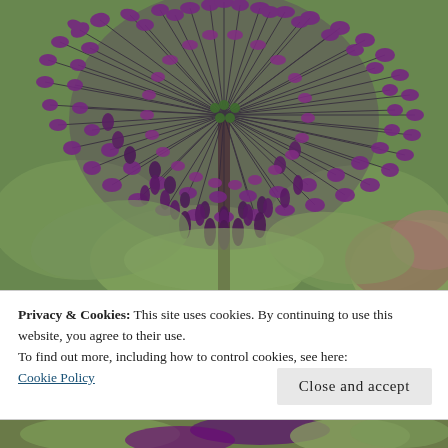[Figure (photo): Close-up photo of a purple allium flower (ornamental onion) in full bloom, showing the spherical cluster of star-shaped florets on thin dark stems, with green and reddish-purple leaves in the blurred background.]
Privacy & Cookies: This site uses cookies. By continuing to use this website, you agree to their use.
To find out more, including how to control cookies, see here:
Cookie Policy
Close and accept
[Figure (photo): Partial view of another photo of purple allium flowers visible at the very bottom of the page.]